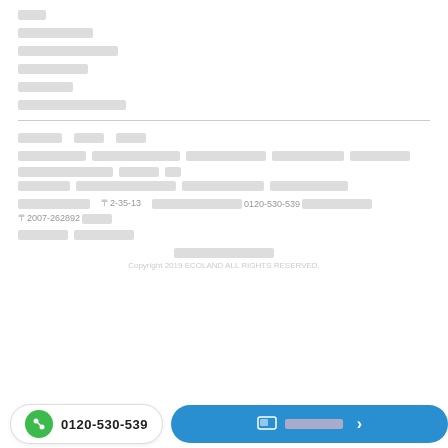（Japanese redacted text rows）
Footer navigation links in Japanese
Address and phone: 0120-530-539, 2007-262892
Copyright 2019 ECOLAND ALL RIGHTS RESERVED.
0120-530-539 | CTA button